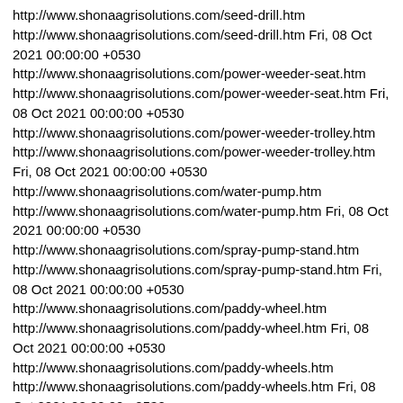http://www.shonaagrisolutions.com/seed-drill.htm http://www.shonaagrisolutions.com/seed-drill.htm Fri, 08 Oct 2021 00:00:00 +0530 http://www.shonaagrisolutions.com/power-weeder-seat.htm http://www.shonaagrisolutions.com/power-weeder-seat.htm Fri, 08 Oct 2021 00:00:00 +0530 http://www.shonaagrisolutions.com/power-weeder-trolley.htm http://www.shonaagrisolutions.com/power-weeder-trolley.htm Fri, 08 Oct 2021 00:00:00 +0530 http://www.shonaagrisolutions.com/water-pump.htm http://www.shonaagrisolutions.com/water-pump.htm Fri, 08 Oct 2021 00:00:00 +0530 http://www.shonaagrisolutions.com/spray-pump-stand.htm http://www.shonaagrisolutions.com/spray-pump-stand.htm Fri, 08 Oct 2021 00:00:00 +0530 http://www.shonaagrisolutions.com/paddy-wheel.htm http://www.shonaagrisolutions.com/paddy-wheel.htm Fri, 08 Oct 2021 00:00:00 +0530 http://www.shonaagrisolutions.com/paddy-wheels.htm http://www.shonaagrisolutions.com/paddy-wheels.htm Fri, 08 Oct 2021 00:00:00 +0530 http://www.shonaagrisolutions.com/mud-mixer.htm http://www.shonaagrisolutions.com/mud-mixer.htm Fri, 08 Oct 2021 00:00:00 +0530 http://www.shonaagrisolutions.com/power-weeder-center-rotary-disc.htm http://www.shonaagrisolutions.com/power-weeder-center-rotary-disc.htm Fri, 08 Oct 2021 00:00:00 +0530 http://www.shonaagrisolutions.com/power-weeder-back-rod-back-odd.htm http://www.shonaagrisolutions.com/power-weeder-back-rod-back-